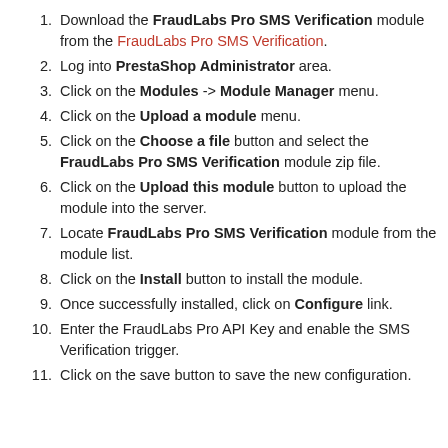Download the FraudLabs Pro SMS Verification module from the FraudLabs Pro SMS Verification.
Log into PrestaShop Administrator area.
Click on the Modules -> Module Manager menu.
Click on the Upload a module menu.
Click on the Choose a file button and select the FraudLabs Pro SMS Verification module zip file.
Click on the Upload this module button to upload the module into the server.
Locate FraudLabs Pro SMS Verification module from the module list.
Click on the Install button to install the module.
Once successfully installed, click on Configure link.
Enter the FraudLabs Pro API Key and enable the SMS Verification trigger.
Click on the save button to save the new configuration.